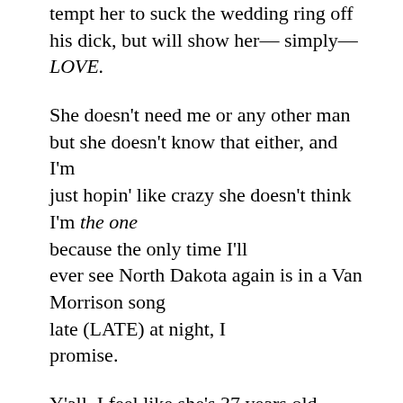tempt her to suck the wedding ring off his dick, but will show her— simply— LOVE.
She doesn't need me or any other man but she doesn't know that either, and I'm just hopin' like crazy she doesn't think I'm the one because the only time I'll ever see North Dakota again is in a Van Morrison song late (LATE) at night, I promise.
Y'all, I feel like she's 37 years old wearing 51 (badly), dying inside (like certain kinds of dances around fires) to speak through you, a forest, if you weren't so